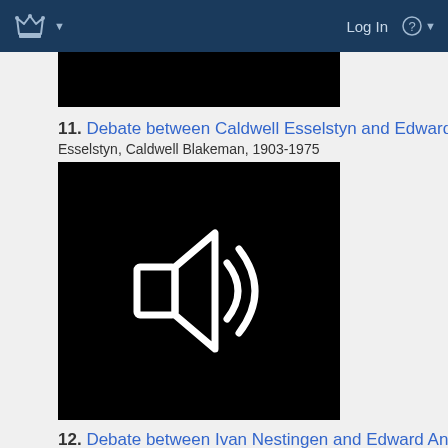Log In
[Figure (screenshot): Black thumbnail image (partial, top of page)]
11. Debate between Caldwell Esselstyn and Edward Annis 1
Esselstyn, Caldwell Blakeman, 1903-1975
[Figure (other): Black audio player thumbnail with white speaker/sound icon in center]
12. Debate between Ivan Nestingen and Edward Annis 1967
Nestinger, Ivan A. (Ivan Arnold), 1921-1978